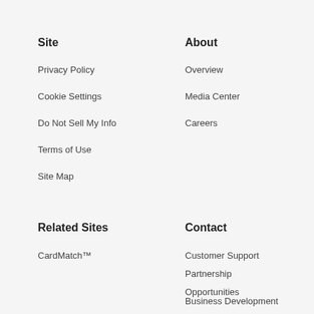Site
Privacy Policy
Cookie Settings
Do Not Sell My Info
Terms of Use
Site Map
About
Overview
Media Center
Careers
Related Sites
CardMatch™
Contact
Customer Support
Partnership
Opportunities
Business Development
Media Relations